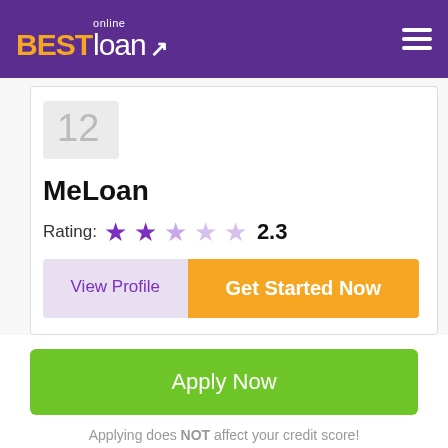[Figure (logo): BESTloan Online logo with arrow icon on purple header, hamburger menu on right]
12
MeLoan
Rating: ★★☆☆☆ 2.3
View Profile
Get Started Now
Apply Now
Applying does NOT affect your credit score!
No credit check to apply.